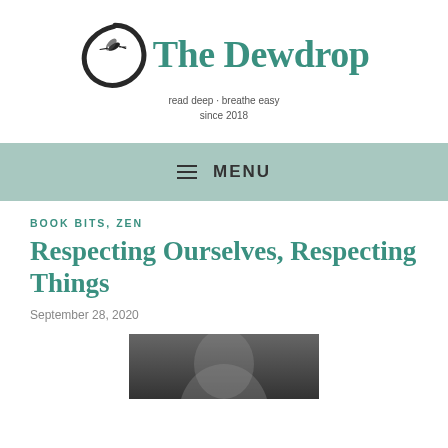[Figure (logo): The Dewdrop website logo: black enso (Zen circle) with a hummingbird inside, next to the text 'The Dewdrop' in teal serif font, with tagline 'read deep · breathe easy since 2018']
≡ MENU
BOOK BITS, ZEN
Respecting Ourselves, Respecting Things
September 28, 2020
[Figure (photo): Black and white photograph partially visible at the bottom of the page, appears to show a person]